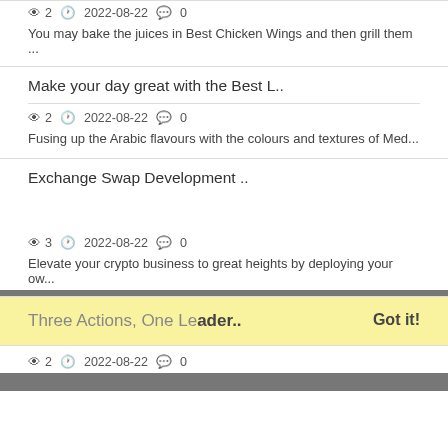👁 2  🕐 2022-08-22  💬 0
You may bake the juices in Best Chicken Wings and then grill them ...
Make your day great with the Best L..
👁 2  🕐 2022-08-22  💬 0
Fusing up the Arabic flavours with the colours and textures of Med...
Exchange Swap Development ..
This website uses cookies to ensure you get the best experience on our website.
Learn more
👁 3  🕐 2022-08-22  💬 0
Elevate your crypto business to great heights by deploying your ow...
Three Actions, One Leader..
Got it!
👁 2  🕐 2022-08-22  💬 0